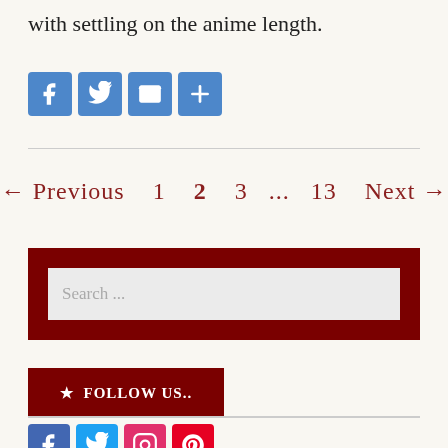with settling on the anime length.
[Figure (infographic): Social share icons: Facebook, Twitter, Email, More (plus sign), all in blue rounded square buttons]
← Previous  1  2  3  ...  13  Next →
[Figure (screenshot): Search input box with dark red border background and placeholder text 'Search ...']
★ FOLLOW US..
[Figure (infographic): Social follow icons: Facebook (blue), Twitter (blue), Instagram (pink/red), Pinterest (red)]